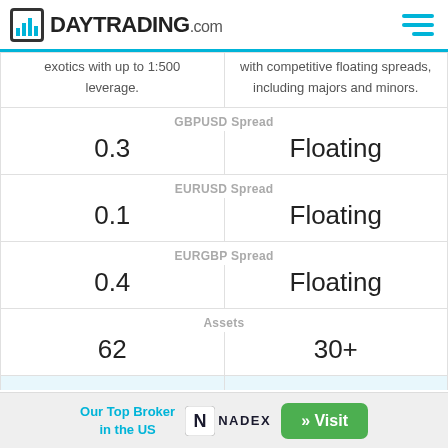DAYTRADING.com
|  |  |
| --- | --- |
| exotics with up to 1:500 leverage. | with competitive floating spreads, including majors and minors. |
| GBPUSD Spread | GBPUSD Spread |
| 0.3 | Floating |
| EURUSD Spread | EURUSD Spread |
| 0.1 | Floating |
| EURGBP Spread | EURGBP Spread |
| 0.4 | Floating |
| Assets | Assets |
| 62 | 30+ |
Our Top Broker in the US  NADEX  » Visit